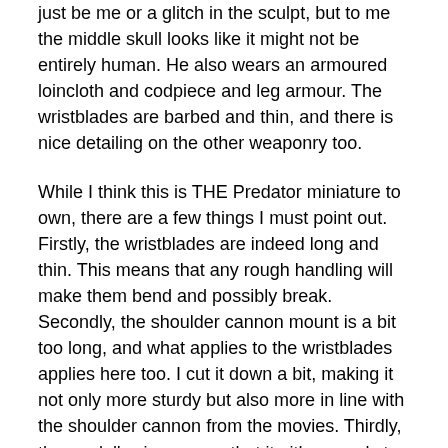just be me or a glitch in the sculpt, but to me the middle skull looks like it might not be entirely human. He also wears an armoured loincloth and codpiece and leg armour. The wristblades are barbed and thin, and there is nice detailing on the other weaponry too.
While I think this is THE Predator miniature to own, there are a few things I must point out. Firstly, the wristblades are indeed long and thin. This means that any rough handling will make them bend and possibly break. Secondly, the shoulder cannon mount is a bit too long, and what applies to the wristblades applies here too. I cut it down a bit, making it not only more sturdy but also more in line with the shoulder cannon from the movies. Thirdly, the model's size means that it either needs to be mounted on a base bigger than 25mm or the slotta tab needs to be cut down.